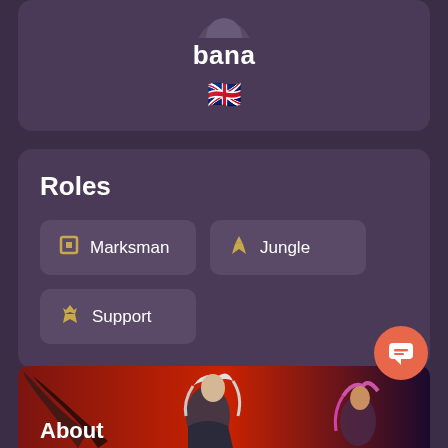bana
[Figure (illustration): UK flag emoji]
Roles
Marksman
Jungle
Support
[Figure (illustration): Fantasy character art with a white-haired warrior, dark wings, and pink-haired figure on a red background]
About